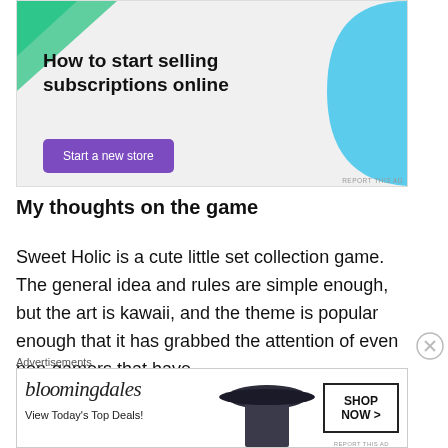[Figure (illustration): Advertisement banner: 'How to start selling subscriptions online' with a purple 'Start a new store' button, green triangle top-left, blue arc shape top-right, light gray background. REPORT THIS AD text bottom right.]
My thoughts on the game
Sweet Holic is a cute little set collection game.  The general idea and rules are simple enough, but the art is kawaii, and the theme is popular enough that it has grabbed the attention of even non-gamers that have
Advertisements
[Figure (screenshot): Bloomingdale's advertisement banner: 'bloomingdales View Today's Top Deals!' with 'SHOP NOW >' button and woman with wide-brim hat silhouette. REPORT THIS AD text bottom right.]